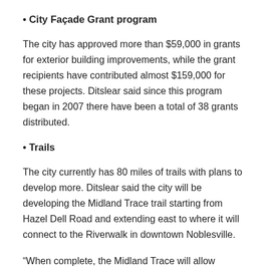• City Façade Grant program
The city has approved more than $59,000 in grants for exterior building improvements, while the grant recipients have contributed almost $159,000 for these projects. Ditslear said since this program began in 2007 there have been a total of 38 grants distributed.
• Trails
The city currently has 80 miles of trails with plans to develop more. Ditslear said the city will be developing the Midland Trace trail starting from Hazel Dell Road and extending east to where it will connect to the Riverwalk in downtown Noblesville.
“When complete, the Midland Trace will allow Noblesville residents to follow the trail to Westfield where they will then be able to access the Monon Trail which would lead them south to